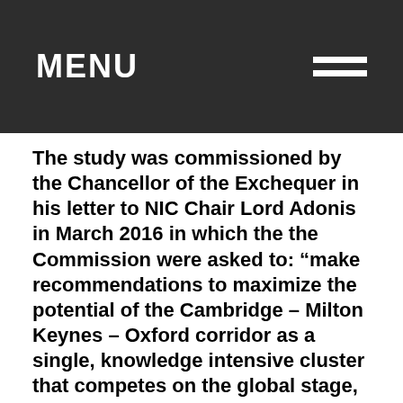MENU
The study was commissioned by the Chancellor of the Exchequer in his letter to NIC Chair Lord Adonis in March 2016 in which the the Commission were asked to: “make recommendations to maximize the potential of the Cambridge – Milton Keynes – Oxford corridor as a single, knowledge intensive cluster that competes on the global stage, whilst protecting the area’s high quality environment and securing the homes and jobs the area needs. The commission will look at the priority infrastructure improvements needed and assess the economic case for which investments